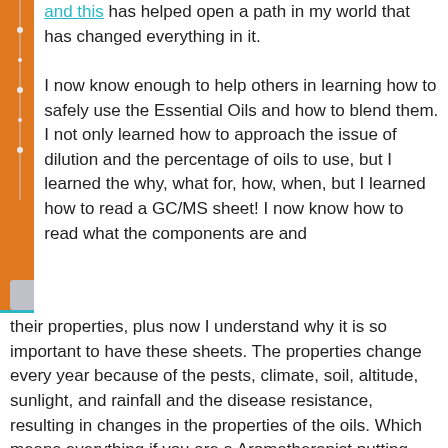[Figure (photo): A smiling woman with a dark face mask, wearing a gray cardigan over a coral/pink top, sitting in front of an orange wall with decorative items, visible shelving with teal/blue containers in the background.]
...and this has helped open a path in my world that has changed everything in it.

I now know enough to help others in learning how to safely use the Essential Oils and how to blend them. I not only learned how to approach the issue of dilution and the percentage of oils to use, but I learned the why, what for, how, when, but I learned how to read a GC/MS sheet! I now know how to read what the components are and their properties, plus now I understand why it is so important to have these sheets. The properties change every year because of the pests, climate, soil, altitude, sunlight, and rainfall and the disease resistance, resulting in changes in the properties of the oils. Which means everything if you are a Aromatherapist putting together a blend.